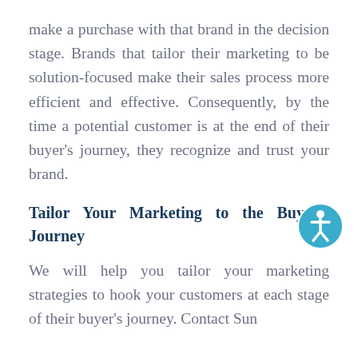make a purchase with that brand in the decision stage. Brands that tailor their marketing to be solution-focused make their sales process more efficient and effective. Consequently, by the time a potential customer is at the end of their buyer's journey, they recognize and trust your brand.
Tailor Your Marketing to the Buyer's Journey
We will help you tailor your marketing strategies to hook your customers at each stage of their buyer's journey. Contact Sun